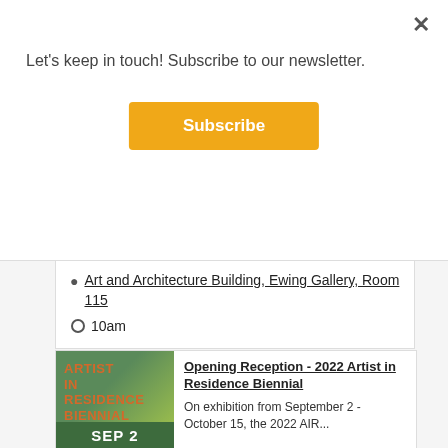Let's keep in touch! Subscribe to our newsletter.
Subscribe
Art and Architecture Building, Ewing Gallery, Room 115
10am
[Figure (illustration): Event thumbnail for 2022 Artist in Residence Biennial showing green gradient background with orange text 'ARTIST IN RESIDENCE BIENNIAL' and dark green date bar reading 'SEP 2']
Opening Reception - 2022 Artist in Residence Biennial
On exhibition from September 2 - October 15, the 2022 AIR...